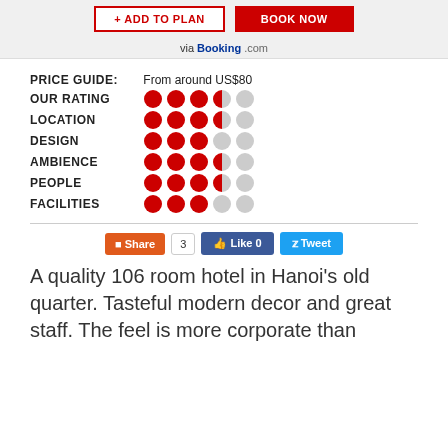ADD TO PLAN | BOOK NOW via Booking.com
PRICE GUIDE: From around US$80
OUR RATING: 3.5/5
LOCATION: 3.5/5
DESIGN: 3/5
AMBIENCE: 3.5/5
PEOPLE: 3.5/5
FACILITIES: 3/5
Share 3 | Like 0 | Tweet
A quality 106 room hotel in Hanoi's old quarter. Tasteful modern decor and great staff. The feel is more corporate than